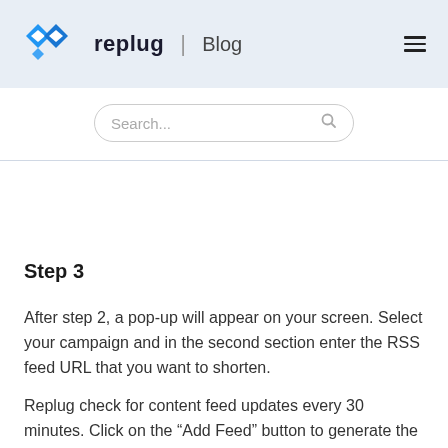replug | Blog
Step 3
After step 2, a pop-up will appear on your screen. Select your campaign and in the second section enter the RSS feed URL that you want to shorten.
Replug check for content feed updates every 30 minutes. Click on the “Add Feed” button to generate the shortened URL.